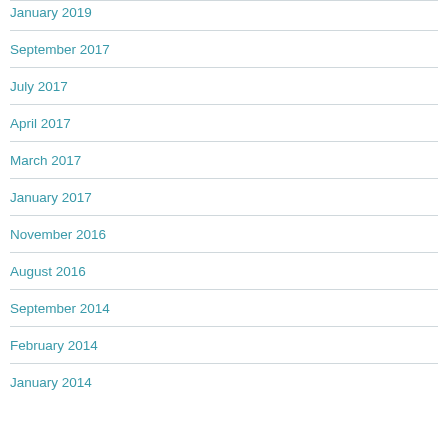January 2019
September 2017
July 2017
April 2017
March 2017
January 2017
November 2016
August 2016
September 2014
February 2014
January 2014